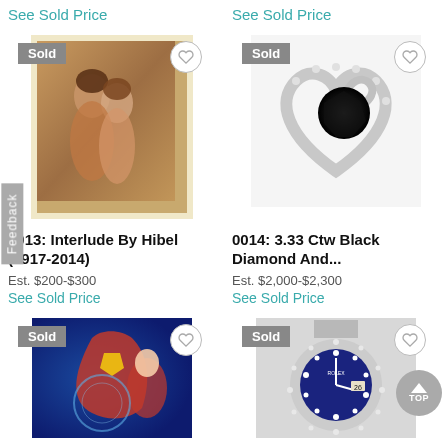See Sold Price
See Sold Price
[Figure (photo): Painting showing two figures embracing, earthy warm tones, marked as Sold]
[Figure (photo): Black diamond and white diamond heart-shaped pendant ring on white background, marked as Sold]
0013: Interlude By Hibel (1917-2014)
0014: 3.33 Ctw Black Diamond And...
Est. $200-$300
Est. $2,000-$2,300
See Sold Price
See Sold Price
[Figure (photo): Superman and Wonder Woman comic art illustration on dark blue background, marked as Sold]
[Figure (photo): Rolex Datejust watch with blue diamond dial and diamond bezel, marked as Sold]